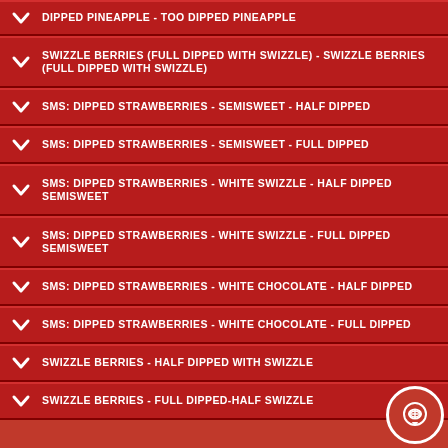DIPPED PINEAPPLE - TOO DIPPED PINEAPPLE
SWIZZLE BERRIES (FULL DIPPED WITH SWIZZLE) - SWIZZLE BERRIES (FULL DIPPED WITH SWIZZLE)
SMS: DIPPED STRAWBERRIES - SEMISWEET - HALF DIPPED
SMS: DIPPED STRAWBERRIES - SEMISWEET - FULL DIPPED
SMS: DIPPED STRAWBERRIES - WHITE SWIZZLE - HALF DIPPED SEMISWEET
SMS: DIPPED STRAWBERRIES - WHITE SWIZZLE - FULL DIPPED SEMISWEET
SMS: DIPPED STRAWBERRIES - WHITE CHOCOLATE - HALF DIPPED
SMS: DIPPED STRAWBERRIES - WHITE CHOCOLATE - FULL DIPPED
SWIZZLE BERRIES - HALF DIPPED WITH SWIZZLE
SWIZZLE BERRIES - FULL DIPPED-HALF SWIZZLE